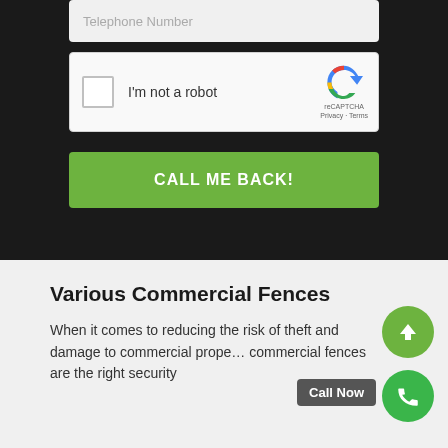[Figure (screenshot): Telephone number input field (greyed placeholder text)]
[Figure (screenshot): reCAPTCHA widget with checkbox labeled 'I'm not a robot']
CALL ME BACK!
Various Commercial Fences
When it comes to reducing the risk of theft and damage to commercial prope... commercial fences are the right security
[Figure (infographic): Green circular FAB button with upward arrow (scroll to top)]
[Figure (infographic): Green circular FAB button with phone icon and 'Call Now' tooltip]